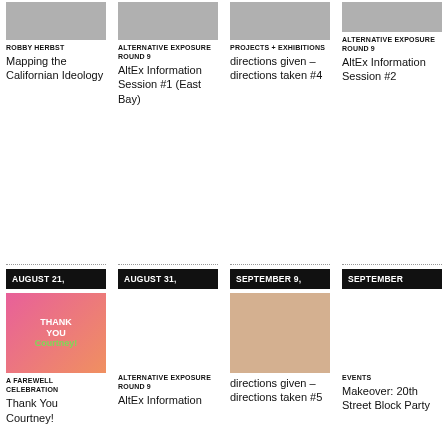[Figure (photo): Top image placeholder - Robby Herbst article]
ROBBY HERBST
Mapping the Californian Ideology
[Figure (photo): Top image placeholder - Alternative Exposure Round 9 #1]
ALTERNATIVE EXPOSURE ROUND 9
AltEx Information Session #1 (East Bay)
[Figure (photo): Top image placeholder - Projects + Exhibitions]
PROJECTS + EXHIBITIONS
directions given – directions taken #4
[Figure (photo): Top image placeholder - Alternative Exposure Round 9 #2]
ALTERNATIVE EXPOSURE ROUND 9
AltEx Information Session #2
AUGUST 21,
[Figure (photo): Thank You Courtney pink/green graphic]
A FAREWELL CELEBRATION
Thank You Courtney!
AUGUST 31,
ALTERNATIVE EXPOSURE ROUND 9
AltEx Information
SEPTEMBER 9,
[Figure (photo): Dance performance photo]
directions given – directions taken #5
SEPTEMBER
EVENTS
Makeover: 20th Street Block Party